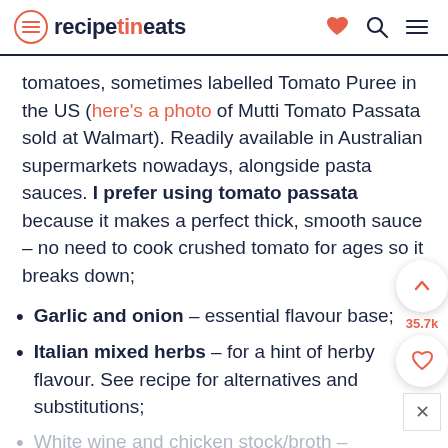recipetineats
tomatoes, sometimes labelled Tomato Puree in the US (here's a photo of Mutti Tomato Passata sold at Walmart). Readily available in Australian supermarkets nowadays, alongside pasta sauces. I prefer using tomato passata because it makes a perfect thick, smooth sauce – no need to cook crushed tomato for ages so it breaks down;
Garlic and onion – essential flavour base;
Italian mixed herbs – for a hint of herby flavour. See recipe for alternatives and substitutions;
White wine and chicken stock/broth –